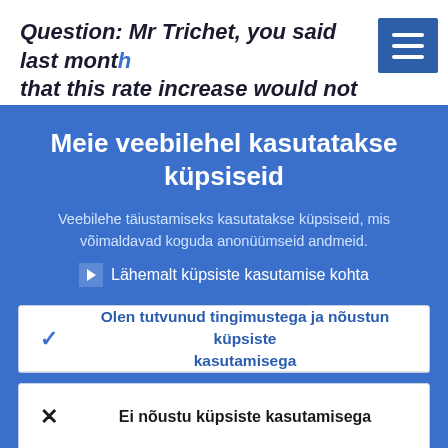Question: Mr Trichet, you said last month that this rate increase would not be the
Meie veebilehel kasutatakse küpsiseid
Veebilehe täiustamiseks kasutatakse küpsiseid, mis võimaldavad koguda anonüümseid andmeid.
▶ Lähemalt küpsiste kasutamise kohta
✓ Olen tutvunud tingimustega ja nõustun küpsiste kasutamisega
✕ Ei nõustu küpsiste kasutamisega